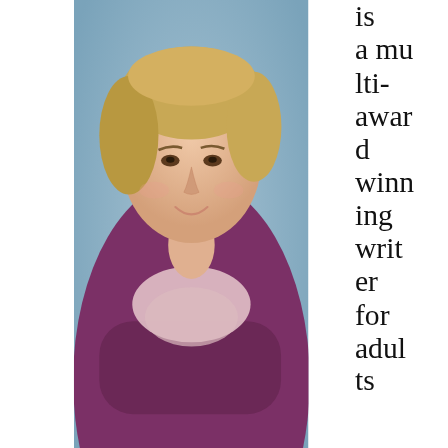[Figure (photo): Portrait photo of Julia Golding, a woman with short blonde hair wearing a purple top and light pink scarf, leaning forward with arms crossed on a surface, smiling at the camera]
Julia Golding
is a multi-award winning writer for adults and young adults. She also writes under the pen names of Joss Stirling and Eve Edwards. Born in 19...
[Figure (screenshot): Advertisement banner: KISS BORING LIPS GOODBYE / SHOP NOW / macys star logo on red background]